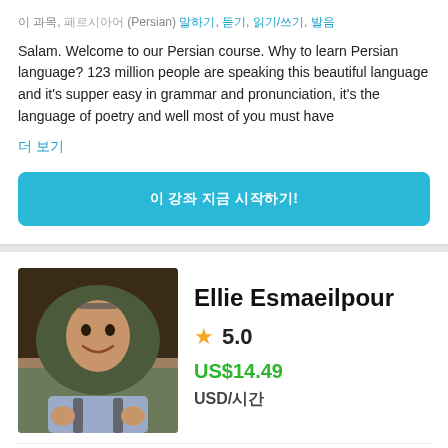이 과목, 페르시아어 (Persian) 말하기, 듣기, 읽기/쓰기, 발음
Salam. Welcome to our Persian course. Why to learn Persian language? 123 million people are speaking this beautiful language and it's supper easy in grammar and pronunciation, it's the language of poetry and well most of you must have
더 보기
이 강좌 지금 시작하기!
Ellie Esmaeilpour
5.0
US$14.49
USD/시간
[Figure (photo): Photo of Ellie Esmaeilpour, a woman wearing a dark olive hijab and smiling, with a backpack]
[Figure (infographic): Row of three icons: Iranian flag emoji, globe emoji, stopwatch emoji]